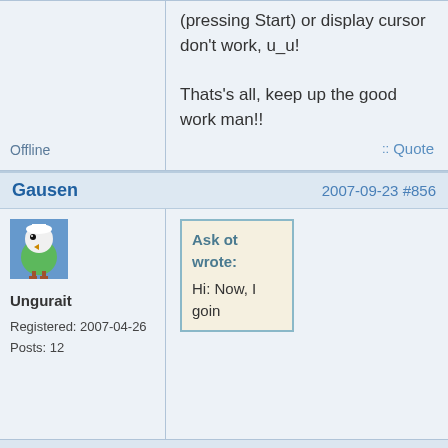(pressing Start) or display cursor don't work, u_u!

Thats's all, keep up the good work man!!
Offline
:: Quote
Gausen
2007-09-23 #856
[Figure (illustration): Forum avatar: cartoon green parrot/bird character with white head and brown feet]
Ungurait
Registered: 2007-04-26
Posts: 12
Ask ot wrote:

Hi: Now, I goin